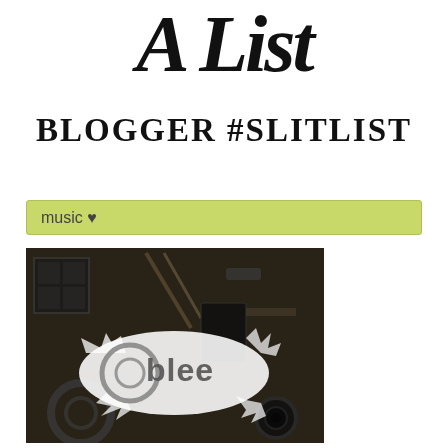A List
BLOGGER #SLITLIST
music ♥
[Figure (photo): Dark moody photograph of various tools, instruments, and mechanical objects on a wooden surface, with a white splattered paint logo reading 'Oblee' in the center]